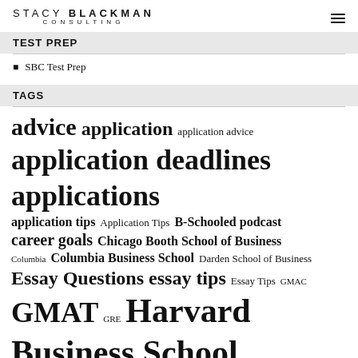STACY BLACKMAN CONSULTING
TEST PREP
SBC Test Prep
TAGS
advice application application advice application deadlines applications application tips Application Tips B-Schooled podcast career goals Chicago Booth School of Business Columbia Columbia Business School Darden School of Business Essay Questions essay tips Essay Tips GMAC GMAT GRE Harvard Business School